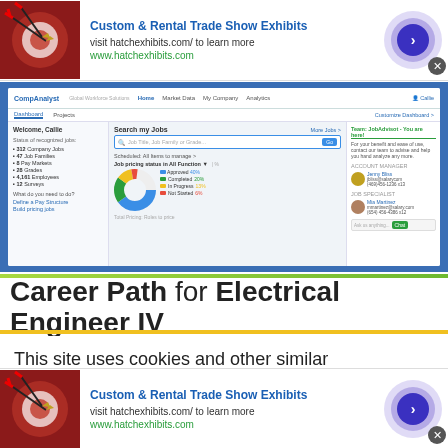[Figure (screenshot): Advertisement banner for Custom & Rental Trade Show Exhibits with dart board image and hatchexhibits.com link (top)]
[Figure (screenshot): CompAnalyst web application screenshot showing dashboard with Welcome Callie, Search my Jobs, donut chart, and contacts panel]
Career Path for Electrical Engineer IV
This site uses cookies and other similar technologies to provide site functionality, analyze traffic and usage, and
[Figure (screenshot): Advertisement banner for Custom & Rental Trade Show Exhibits with dart board image and hatchexhibits.com link (bottom)]